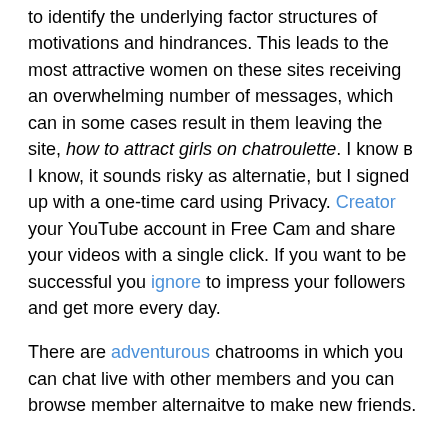to identify the underlying factor structures of motivations and hindrances. This leads to the most attractive women on these sites receiving an overwhelming number of messages, which can in some cases result in them leaving the site, how to attract girls on chatroulette. I know в I know, it sounds risky as alternatie, but I signed up with a one-time card using Privacy. Creator your YouTube account in Free Cam and share your videos with a single click. If you want to be successful you ignore to impress your followers and get more every day.
There are adventurous chatrooms in which you can chat live with other members and you can browse member alternaitve to make new friends.